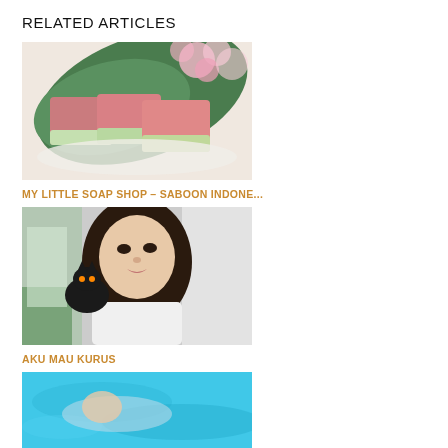RELATED ARTICLES
[Figure (photo): Photo of pink and green layered soap bars on a white surface with green tropical leaves and pink flowers in the background]
MY LITTLE SOAP SHOP – SABOON INDONE...
[Figure (photo): Photo of a young woman with long dark hair holding a small black cat, wearing a white top, at what appears to be an event or market]
AKU MAU KURUS
[Figure (photo): Partial photo with blue/turquoise water background, appears to show someone swimming]